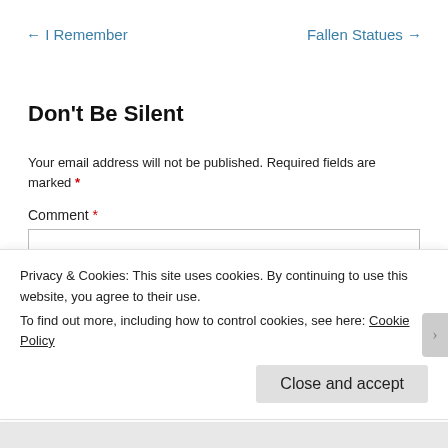← I Remember
Fallen Statues →
Don't Be Silent
Your email address will not be published. Required fields are marked *
Comment *
Privacy & Cookies: This site uses cookies. By continuing to use this website, you agree to their use.
To find out more, including how to control cookies, see here: Cookie Policy
Close and accept